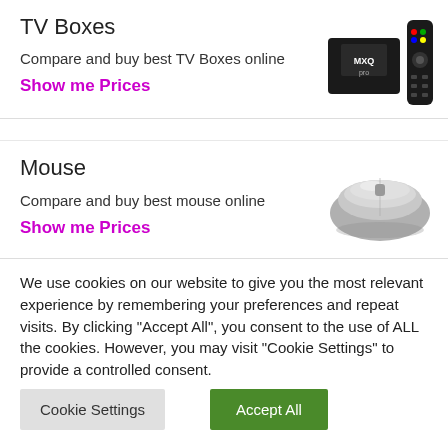TV Boxes
Compare and buy best TV Boxes online
Show me Prices
[Figure (photo): MXQ TV box and remote control]
Mouse
Compare and buy best mouse online
Show me Prices
[Figure (photo): Silver wireless mouse]
We use cookies on our website to give you the most relevant experience by remembering your preferences and repeat visits. By clicking "Accept All", you consent to the use of ALL the cookies. However, you may visit "Cookie Settings" to provide a controlled consent.
Cookie Settings
Accept All